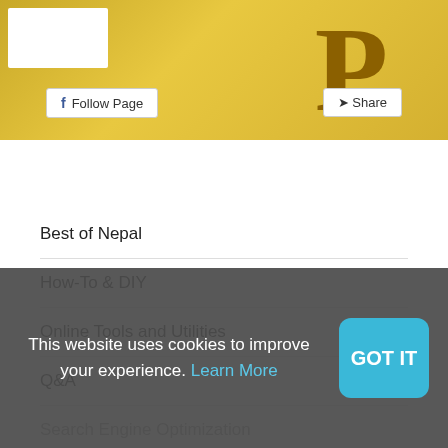[Figure (screenshot): Facebook page banner with gold/yellow background, a white box top-left (logo placeholder), large stylized 'P' letter in dark gold on right, Follow Page button bottom-left and Share button bottom-right]
Categories
Best of Nepal
How-To & DIY
Online Tools and Utilities
Q&A
Search Engine Optimization
Software and Application
Technology
This website uses cookies to improve your experience. Learn More
GOT IT